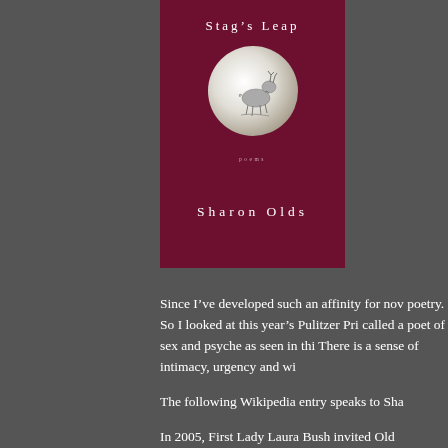[Figure (illustration): Book cover of 'Stag's Leap' by Sharon Olds — dark crimson/maroon background with title text at top in white spaced letters, a circular vignette image in the center showing a stag/deer illustration, the word 'poems' in small spaced letters below the circle, and the author name 'Sharon Olds' in large spaced white letters near the bottom.]
Since I've developed such an affinity for nov poetry.  So I looked at this year's Pulitzer Pri called a poet of sex and psyche as seen in thi There is a sense of intimacy, urgency and wi
The following Wikipedia entry speaks to Sha
In 2005, First Lady Laura Bush invited Old